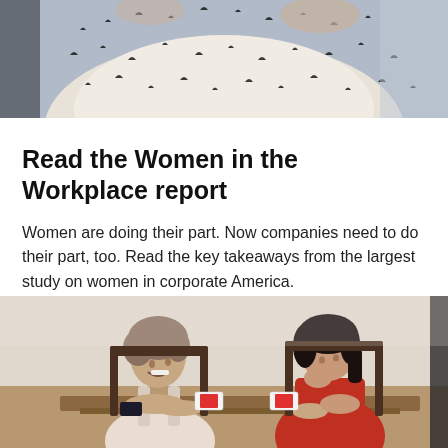[Figure (photo): Top portion of a photo showing a person wearing a patterned black and white top, partially cropped]
Read the Women in the Workplace report
Women are doing their part. Now companies need to do their part, too. Read the key takeaways from the largest study on women in corporate America.
[Figure (photo): Two women sitting at a wooden table, one in a white tank top with short hair laughing, and another in a red top with dark hair leaning on her hand, with cards on the table between them]